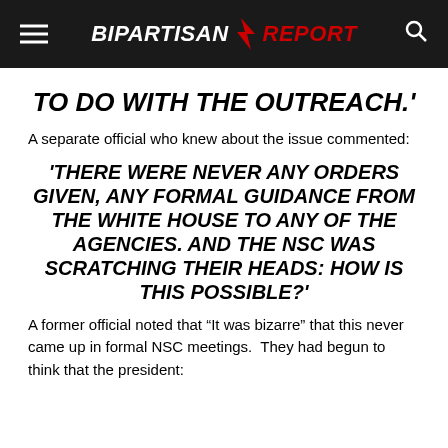BIPARTISAN REPORT
TO DO WITH THE OUTREACH.'
A separate official who knew about the issue commented:
'THERE WERE NEVER ANY ORDERS GIVEN, ANY FORMAL GUIDANCE FROM THE WHITE HOUSE TO ANY OF THE AGENCIES. AND THE NSC WAS SCRATCHING THEIR HEADS: HOW IS THIS POSSIBLE?'
A former official noted that “It was bizarre” that this never came up in formal NSC meetings.  They had begun to think that the president: